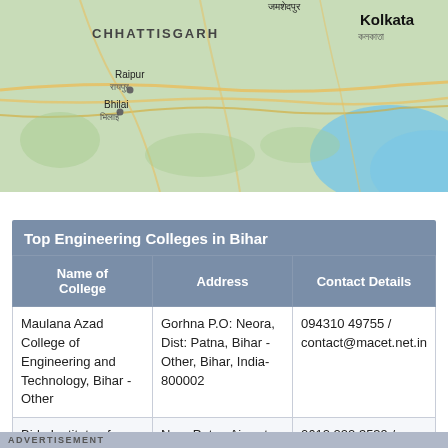[Figure (map): Map showing parts of eastern India including Chhattisgarh, Raipur, Bhilai, Jamshedpur, and Kolkata regions with roads and geographical features]
| Name of College | Address | Contact Details |
| --- | --- | --- |
| Maulana Azad College of Engineering and Technology, Bihar - Other | Gorhna P.O: Neora, Dist: Patna, Bihar - Other, Bihar, India- 800002 | 094310 49755 / contact@macet.net.in |
| Birla Institute of | Near Patna Airport, P.O. Bihar Veterinary, | 0612 222 3539 / |
ADVERTISEMENT